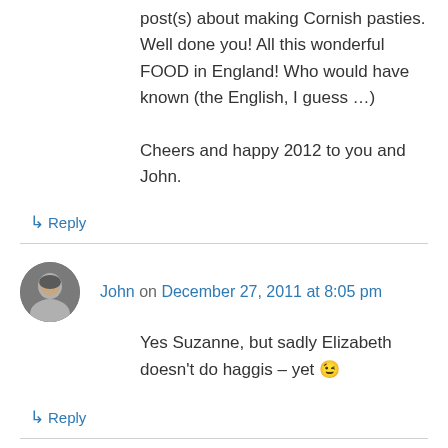post(s) about making Cornish pasties. Well done you! All this wonderful FOOD in England! Who would have known (the English, I guess …)

Cheers and happy 2012 to you and John.
↳ Reply
John on December 27, 2011 at 8:05 pm
Yes Suzanne, but sadly Elizabeth doesn't do haggis – yet 😉
↳ Reply
Gina on December 27, 2011 at 9:15 pm
It looks like you managed to combine the best of